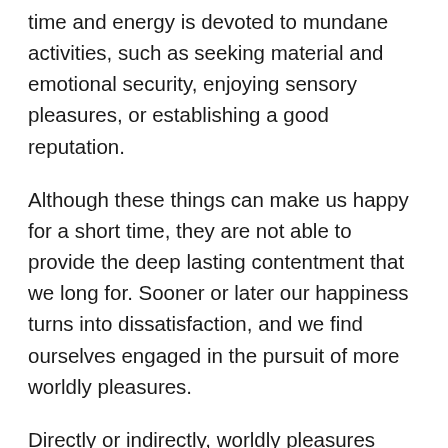time and energy is devoted to mundane activities, such as seeking material and emotional security, enjoying sensory pleasures, or establishing a good reputation.
Although these things can make us happy for a short time, they are not able to provide the deep lasting contentment that we long for. Sooner or later our happiness turns into dissatisfaction, and we find ourselves engaged in the pursuit of more worldly pleasures.
Directly or indirectly, worldly pleasures cause us mental and physical suffering by stimulating attachment, jealousy, and frustration. Moreover, seeking to fulfill our own desires often bring us into conflict with others.
If true fulfillment cannot be found in worldly pleasures, then where can it be found? Happiness is a state of